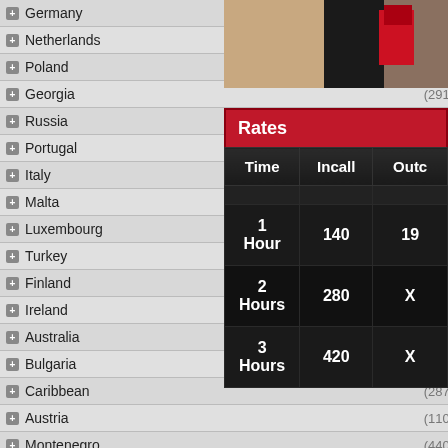Germany (232)
Netherlands (388)
Poland (396)
Georgia (291)
Russia (415)
Portugal (110)
Italy (99)
Malta (453)
Luxembourg (201)
Turkey (267)
Finland (341)
Ireland (271)
Australia (357)
Bulgaria (183)
Caribbean (287)
Austria (110)
Montenegro (440)
Norway (204)
Slovenia (234)
[Figure (photo): Partial photo showing a person in dark clothing with red accessory]
| Time | Incall | Outcall |
| --- | --- | --- |
| 1 Hour | 140 | 19... |
| 2 Hours | 280 | X... |
| 3 Hours | 420 | X... |